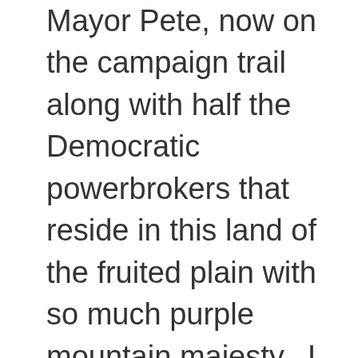Mayor Pete, now on the campaign trail along with half the Democratic powerbrokers that reside in this land of the fruited plain with so much purple mountain majesty.  I heard him say it recently, perhaps when he was being interviewed by Rachel Maddow? I liked it so much I